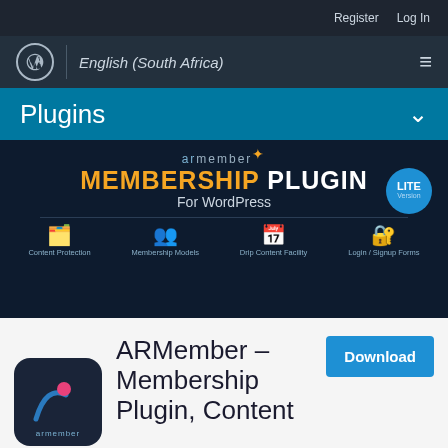Register   Log In
English (South Africa)
Plugins
[Figure (screenshot): ARMember Membership Plugin for WordPress banner showing MEMBERSHIP PLUGIN For WordPress text with icons for Content Protection, Membership Models, Drip Content Facility, Login / Signup Forms. LITE Version badge in top right.]
[Figure (logo): ARMember plugin logo - dark rounded square with pink dot and blue arc graphic, armember text below]
ARMember – Membership Plugin, Content